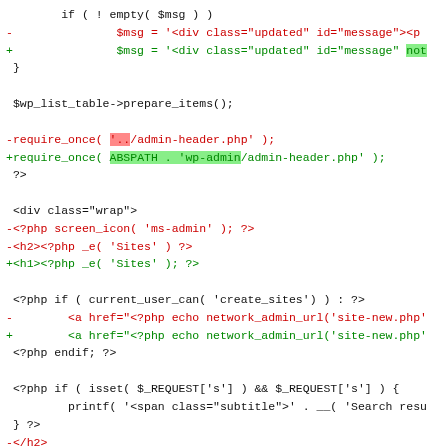[Figure (screenshot): Code diff screenshot showing PHP code changes with removed lines in red and added lines in green, including highlighted tokens for changed strings.]